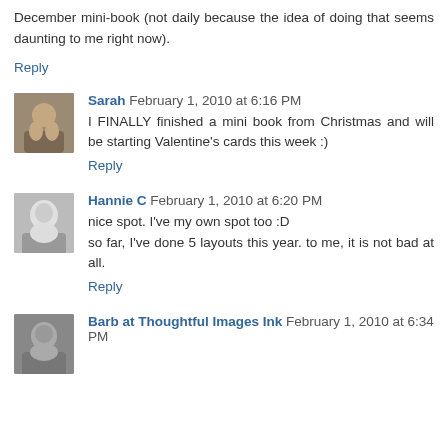December mini-book (not daily because the idea of doing that seems daunting to me right now).
Reply
Sarah  February 1, 2010 at 6:16 PM
I FINALLY finished a mini book from Christmas and will be starting Valentine's cards this week :)
Reply
Hannie C  February 1, 2010 at 6:20 PM
nice spot. I've my own spot too :D
so far, I've done 5 layouts this year. to me, it is not bad at all.
Reply
Barb at Thoughtful Images Ink  February 1, 2010 at 6:34 PM